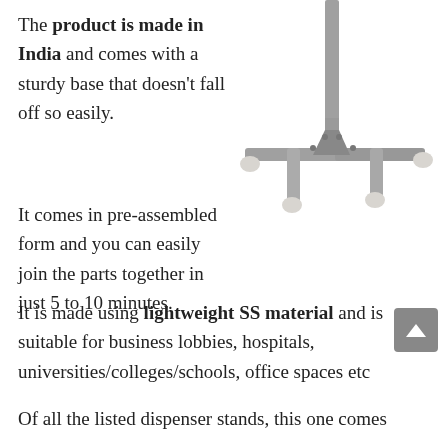The product is made in India and comes with a sturdy base that doesn't fall off so easily.
[Figure (photo): A metal floor stand/dispenser base with cross-shaped feet and a vertical pole, shown in gray/silver color with rubber feet.]
It comes in pre-assembled form and you can easily join the parts together in just 5 to 10 minutes.
It is made using lightweight SS material and is suitable for business lobbies, hospitals, universities/colleges/schools, office spaces etc
Of all the listed dispenser stands, this one comes